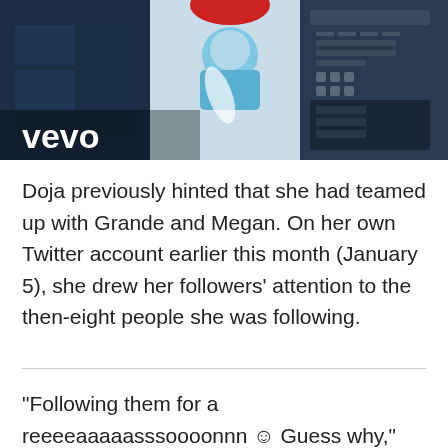[Figure (screenshot): Vevo music video thumbnail showing animated/illustrated figures with 'vevo' watermark in lower left corner]
Doja previously hinted that she had teamed up with Grande and Megan. On her own Twitter account earlier this month (January 5), she drew her followers' attention to the then-eight people she was following.
“Following them for a reeeeaaaaasssoooonnn ☺ Guess why,” she wrote. The list included Grande